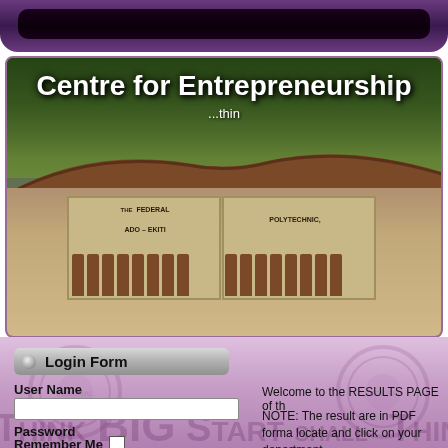[Figure (photo): Top navigation bar with dark purple gradient and rounded inner bar]
[Figure (photo): Photo banner showing Federal Polytechnic Ado-Ekiti gate with trees in background. White bold text overlay reads 'Centre for Entrepreneurship' and '...thin' (truncated). Gate shows brown vertical bars and text THE FEDERAL POLYTECHNIC ADO - EKITI.]
Centre for Entrepreneurship
...thin
Login Form
User Name
Password
Remember Me
Welcome to the RESULTS PAGE of th
NOTE: The result are in PDF forma locate and click on your department.